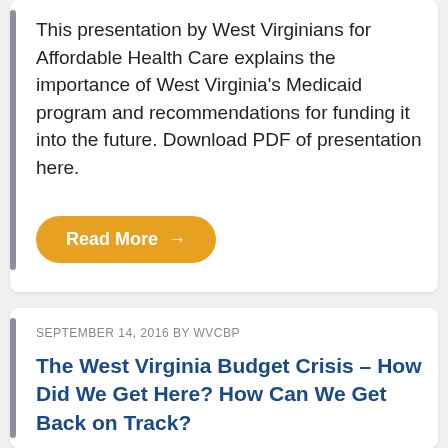This presentation by West Virginians for Affordable Health Care explains the importance of West Virginia's Medicaid program and recommendations for funding it into the future. Download PDF of presentation here.
[Figure (other): Orange rounded button labeled 'Read More' with a right arrow]
SEPTEMBER 14, 2016 BY WVCBP
The West Virginia Budget Crisis – How Did We Get Here? How Can We Get Back on Track?